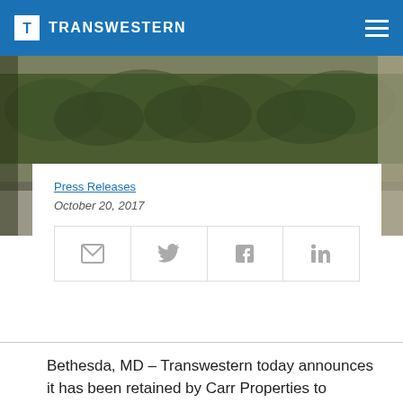TRANSWESTERN
[Figure (photo): Outdoor hedge/landscaping aerial photo of building grounds]
Press Releases
October 20, 2017
[Figure (infographic): Social sharing icons: email, Twitter, Facebook, LinkedIn]
Bethesda, MD – Transwestern today announces it has been retained by Carr Properties to provide leasing services for 7272 Wisconsin Ave., a planned 358,000-square-foot trophy office building in